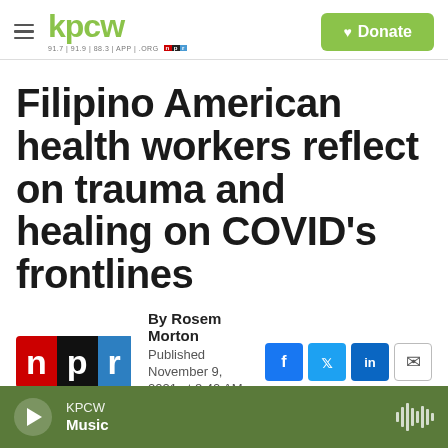KPCW — 91.7 | 91.9 | 88.3 | APP | .ORG | NPR | Donate
Filipino American health workers reflect on trauma and healing on COVID's frontlines
By Rosem Morton
Published November 9, 2021 at 8:40 AM MST
[Figure (photo): Partial image strip showing three segments — green-toned outdoor scene, dark/black background scene, and gray background]
KPCW Music